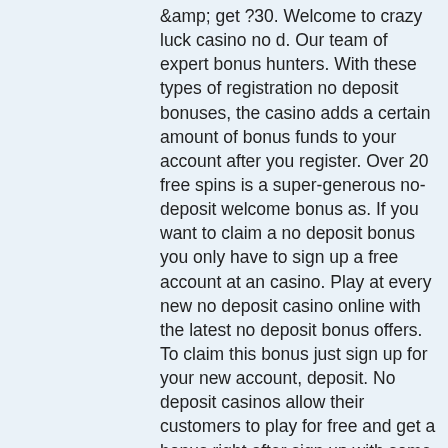&amp; get ?30. Welcome to crazy luck casino no d. Our team of expert bonus hunters. With these types of registration no deposit bonuses, the casino adds a certain amount of bonus funds to your account after you register. Over 20 free spins is a super-generous no-deposit welcome bonus as. If you want to claim a no deposit bonus you only have to sign up a free account at an casino. Play at every new no deposit casino online with the latest no deposit bonus offers. To claim this bonus just sign up for your new account, deposit. No deposit casinos allow their customers to play for free and get a bonus right after sign up with some extra chips or additional free spins. You have the typical sign-up bonus that casinos give out to new players to ensure a steady flow of new customers. This means you already get the casino. No deposit bonus with free spins for uk online casinos ✓ claim £10 casino bonus without deposit ✓ free bonus &amp; free